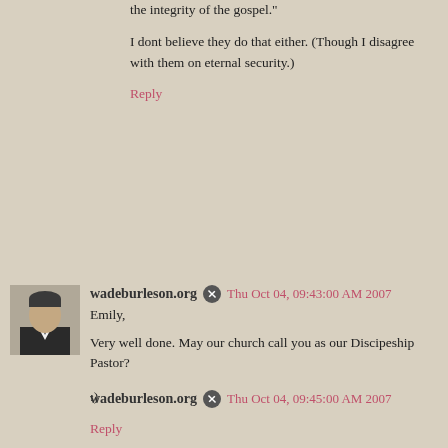the integrity of the gospel."
I dont believe they do that either. (Though I disagree with them on eternal security.)
Reply
wadeburleson.org  Thu Oct 04, 09:43:00 AM 2007
Emily,
Very well done. May our church call you as our Discipeship Pastor?
:)
Reply
wadeburleson.org  Thu Oct 04, 09:45:00 AM 2007
Roger,
Insightful. I can't see the future, but I think you may be